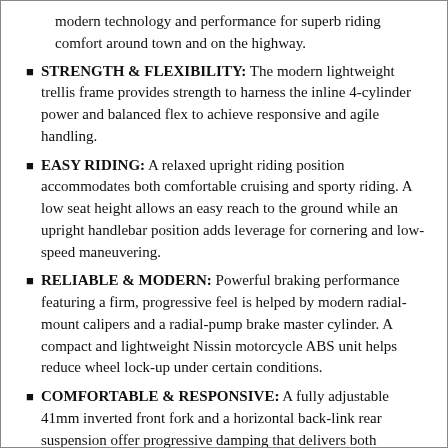modern technology and performance for superb riding comfort around town and on the highway.
STRENGTH & FLEXIBILITY: The modern lightweight trellis frame provides strength to harness the inline 4-cylinder power and balanced flex to achieve responsive and agile handling.
EASY RIDING: A relaxed upright riding position accommodates both comfortable cruising and sporty riding. A low seat height allows an easy reach to the ground while an upright handlebar position adds leverage for cornering and low-speed maneuvering.
RELIABLE & MODERN: Powerful braking performance featuring a firm, progressive feel is helped by modern radial-mount calipers and a radial-pump brake master cylinder. A compact and lightweight Nissin motorcycle ABS unit helps reduce wheel lock-up under certain conditions.
COMFORTABLE & RESPONSIVE: A fully adjustable 41mm inverted front fork and a horizontal back-link rear suspension offer progressive damping that delivers both